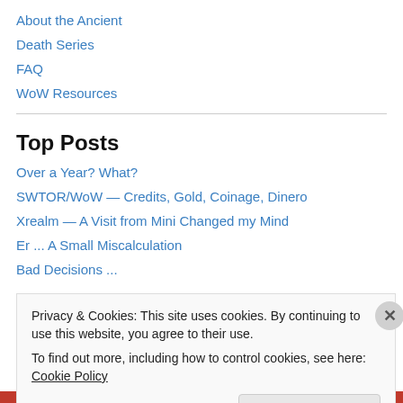About the Ancient
Death Series
FAQ
WoW Resources
Top Posts
Over a Year? What?
SWTOR/WoW — Credits, Gold, Coinage, Dinero
Xrealm — A Visit from Mini Changed my Mind
Er ... A Small Miscalculation
Bad Decisions ...
Privacy & Cookies: This site uses cookies. By continuing to use this website, you agree to their use.
To find out more, including how to control cookies, see here: Cookie Policy
Close and accept